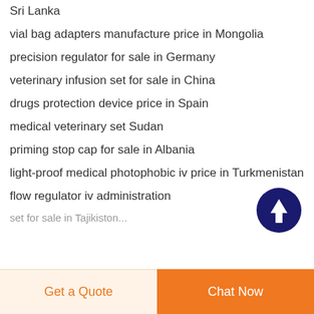Sri Lanka
vial bag adapters manufacture price in Mongolia
precision regulator for sale in Germany
veterinary infusion set for sale in China
drugs protection device price in Spain
medical veterinary set Sudan
priming stop cap for sale in Albania
light-proof medical photophobic iv price in Turkmenistan
flow regulator iv administration
set for sale in Tajikistan
[Figure (other): Scroll-to-top button: dark navy blue circle with white upward-pointing arrow]
Get a Quote | Chat Now